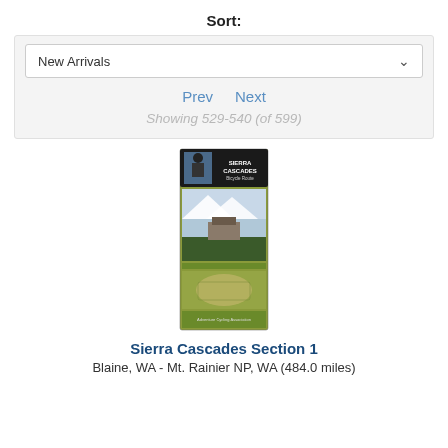Sort:
New Arrivals
Prev   Next
Showing 529-540 (of 599)
[Figure (photo): Product image of Sierra Cascades Section 1 map, a folded map with green cover showing mountain scenery and a US map outline]
Sierra Cascades Section 1
Blaine, WA - Mt. Rainier NP, WA (484.0 miles)